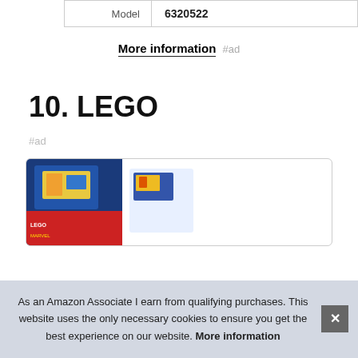| Model | 6320522 |
More information #ad
10. LEGO
#ad
[Figure (photo): LEGO product box image partially visible]
As an Amazon Associate I earn from qualifying purchases. This website uses the only necessary cookies to ensure you get the best experience on our website. More information